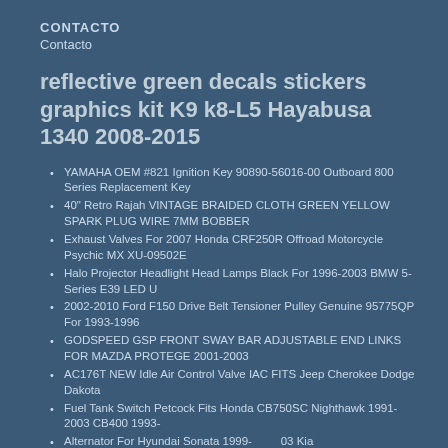CONTACTO
Contacto
reflective green decals stickers graphics kit K9 k8-L5 Hayabusa 1340 2008-2015
YAMAHA OEM #821 Ignition Key 90890-56016-00 Outboard 800 Series Replacement Key
40" Retro Rajah VINTAGE BRAIDED CLOTH GREEN YELLOW SPARK PLUG WIRE 7MM BOBBER
Exhaust Valves For 2007 Honda CRF250R Offroad Motorcycle Psychic MX XU-09502E
Halo Projector Headlight Head Lamps Black For 1996-2003 BMW 5-Series E39 LED U
2002-2010 Ford F150 Drive Belt Tensioner Pulley Genuine 95775QP For 1993-1996
GODSPEED GSP FRONT SWAY BAR ADJUSTABLE END LINKS FOR MAZDA PROTEGE 2001-2003
AC176T NEW Idle Air Control Valve IAC FITS Jeep Cherokee Dodge Dakota
Fuel Tank Switch Petcock Fits Honda CB750SC Nighthawk 1991-2003 CB400 1993-
Alternator For Hyundai Sonata 1999-03 Kia